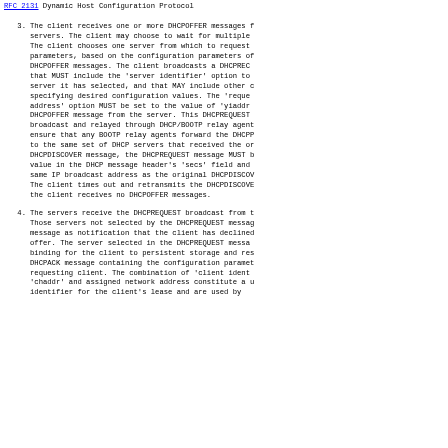RFC 2131                Dynamic Host Configuration Protocol
3. The client receives one or more DHCPOFFER messages from servers. The client may choose to wait for multiple The client chooses one server from which to request parameters, based on the configuration parameters of DHCPOFFER messages. The client broadcasts a DHCPREC that MUST include the 'server identifier' option to server it has selected, and that MAY include other c specifying desired configuration values. The 'reque address' option MUST be set to the value of 'yiaddr DHCPOFFER message from the server. This DHCPREQUEST broadcast and relayed through DHCP/BOOTP relay agent ensure that any BOOTP relay agents forward the DHCPR to the same set of DHCP servers that received the or DHCPDISCOVER message, the DHCPREQUEST message MUST b value in the DHCP message header's 'secs' field and same IP broadcast address as the original DHCPDISCON The client times out and retransmits the DHCPDISCOVE the client receives no DHCPOFFER messages.
4. The servers receive the DHCPREQUEST broadcast from t Those servers not selected by the DHCPREQUEST messag message as notification that the client has declined offer. The server selected in the DHCPREQUEST messa binding for the client to persistent storage and res DHCPACK message containing the configuration paramet requesting client. The combination of 'client ident 'chaddr' and assigned network address constitute a u identifier for the client's lease and are used by